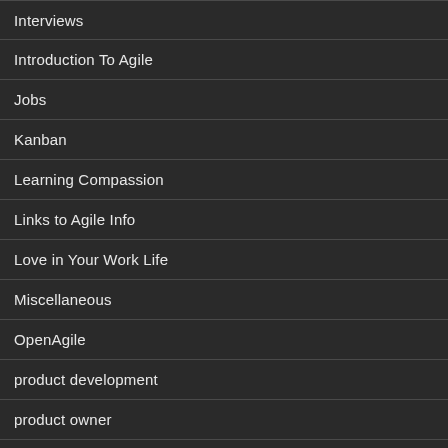Interviews
Introduction To Agile
Jobs
Kanban
Learning Compassion
Links to Agile Info
Love in Your Work Life
Miscellaneous
OpenAgile
product development
product owner
Professional Development